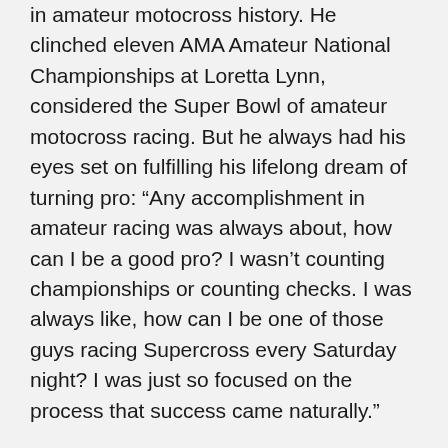in amateur motocross history. He clinched eleven AMA Amateur National Championships at Loretta Lynn, considered the Super Bowl of amateur motocross racing. But he always had his eyes set on fulfilling his lifelong dream of turning pro: “Any accomplishment in amateur racing was always about, how can I be a good pro? I wasn’t counting championships or counting checks. I was always like, how can I be one of those guys racing Supercross every Saturday night? I was just so focused on the process that success came naturally.”
In 2013, Cianciarulo turned pro for Monster Energy/Pro Circuit/Kawasaki and soon became a force to be reckoned with in the 250 division. After years of battling for the top spot and a heated rivalry with Frenchman Dylan Ferrandis,